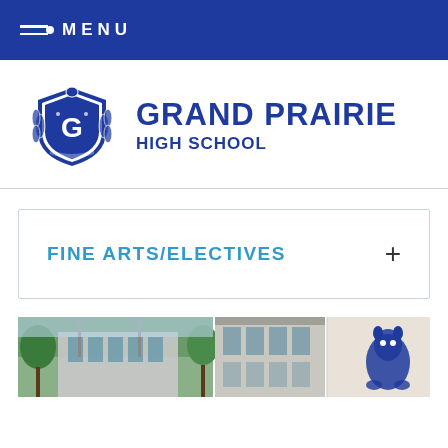MENU
[Figure (logo): Grand Prairie High School crest/shield logo in blue and white, with laurel wreath and 'G' letter, 'GRAND PRAIRIE GOPHERS' text on shield]
GRAND PRAIRIE HIGH SCHOOL
FINE ARTS/ELECTIVES
[Figure (photo): Photograph of Grand Prairie High School building exterior with trees and a blue Gopher mascot sculpture on a white wall]